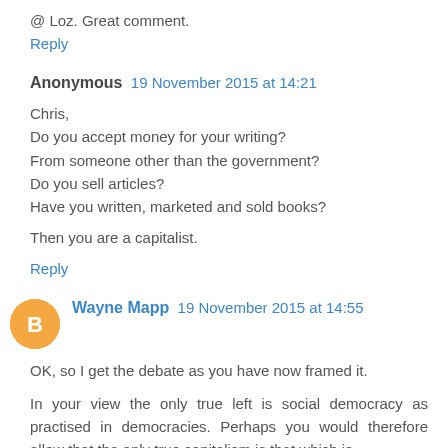@ Loz. Great comment.
Reply
Anonymous  19 November 2015 at 14:21
Chris,
Do you accept money for your writing?
From someone other than the government?
Do you sell articles?
Have you written, marketed and sold books?

Then you are a capitalist.
Reply
Wayne Mapp  19 November 2015 at 14:55
OK, so I get the debate as you have now framed it.
In your view the only true left is social democracy as practised in democracies. Perhaps you would therefore allow that the only true capitalism is that which is...